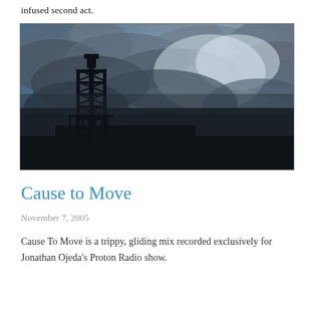infused second act.
[Figure (photo): A dramatic stormy sky with dark swirling clouds, and a dark industrial structure silhouette (tower/fire escape) in the lower left.]
Cause to Move
November 7, 2005
Cause To Move is a trippy, gliding mix recorded exclusively for Jonathan Ojeda's Proton Radio show.